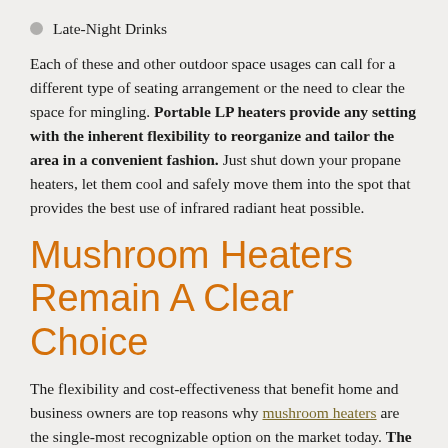Late-Night Drinks
Each of these and other outdoor space usages can call for a different type of seating arrangement or the need to clear the space for mingling. Portable LP heaters provide any setting with the inherent flexibility to reorganize and tailor the area in a convenient fashion. Just shut down your propane heaters, let them cool and safely move them into the spot that provides the best use of infrared radiant heat possible.
Mushroom Heaters Remain A Clear Choice
The flexibility and cost-effectiveness that benefit home and business owners are top reasons why mushroom heaters are the single-most recognizable option on the market today. The inclusion of infrared technology has allowed this class of outdoor patio heaters to remain at the forefront of the industry.